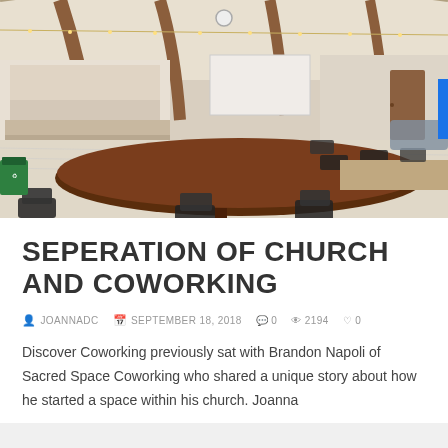[Figure (photo): Interior of a coworking space converted from a church, showing large wooden conference tables, black mesh chairs, wooden beam arches, string lights on the ceiling, and a kitchen/bar area in the background with light wood floors.]
SEPERATION OF CHURCH AND COWORKING
JOANNADC   SEPTEMBER 18, 2018   0   2194   0
Discover Coworking previously sat with Brandon Napoli of Sacred Space Coworking who shared a unique story about how he started a space within his church.  Joanna